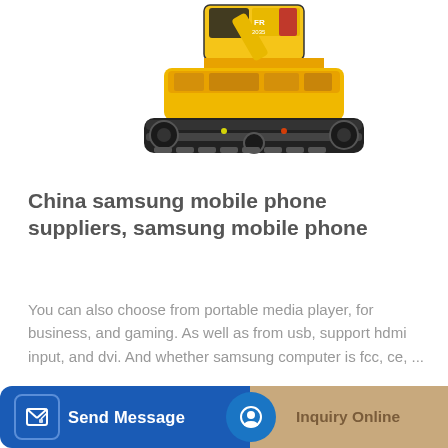[Figure (photo): Yellow and black crawler excavator shown from the side, partially cropped at top]
China samsung mobile phone suppliers, samsung mobile phone
You can also choose from portable media player, for business, and gaming. As well as from usb, support hdmi input, and dvi. And whether samsung computer is fcc, ce, ...
[Figure (illustration): Yellow construction bucket/loader arm with teeth, partially visible]
Send Message | Inquiry Online